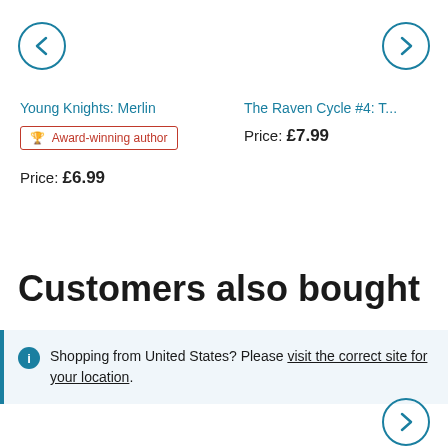[Figure (other): Left navigation arrow button (circle with < chevron)]
[Figure (other): Right navigation arrow button (circle with > chevron)]
Young Knights: Merlin
The Raven Cycle #4: T...
🏆 Award-winning author
Price: £7.99
Price: £6.99
Customers also bought
Shopping from United States? Please visit the correct site for your location.